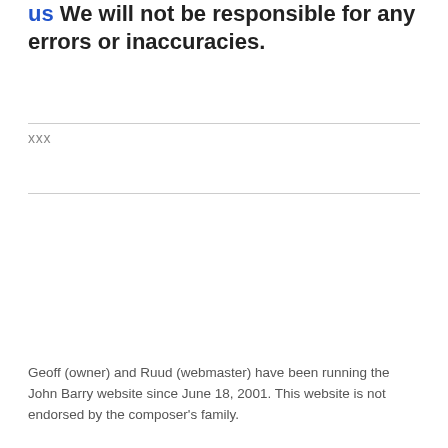us We will not be responsible for any errors or inaccuracies.
xxx
Geoff (owner) and Ruud (webmaster) have been running the John Barry website since June 18, 2001. This website is not endorsed by the composer's family.